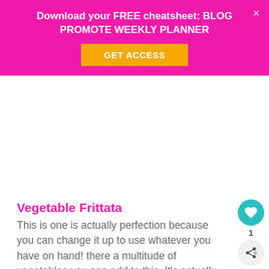Download your FREE cheatsheet: BLOG PROMOTE WEEKLY PLANNER
GET ACCESS
[Figure (other): White blank space area, likely an image placeholder]
Vegetable Frittata
This is one is actually perfection because you can change it up to use whatever you have on hand! there a multitude of vegetables you can add to this. It's actually a super quick and easy weeknight meal.